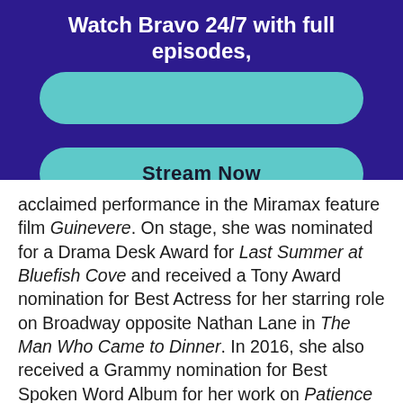Watch Bravo 24/7 with full episodes,
[Figure (other): Teal pill-shaped button (empty/blank)]
[Figure (other): Teal pill-shaped button with text 'Stream Now']
acclaimed performance in the Miramax feature film Guinevere. On stage, she was nominated for a Drama Desk Award for Last Summer at Bluefish Cove and received a Tony Award nomination for Best Actress for her starring role on Broadway opposite Nathan Lane in The Man Who Came to Dinner. In 2016, she also received a Grammy nomination for Best Spoken Word Album for her work on Patience and Sarah. Most recently, Smart starred in Paul Feig's film A Simple Favor, Dan Fogelman's Life Itself, Brampton's Own, and Senior Moment. Notably, she was seen starring in The